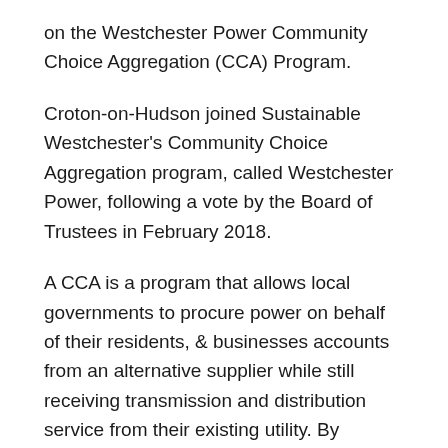on the Westchester Power Community Choice Aggregation (CCA) Program.
Croton-on-Hudson joined Sustainable Westchester's Community Choice Aggregation program, called Westchester Power, following a vote by the Board of Trustees in February 2018.
A CCA is a program that allows local governments to procure power on behalf of their residents, & businesses accounts from an alternative supplier while still receiving transmission and distribution service from their existing utility. By aggregating demand, communities gain leverage to negotiate better rates with competitive suppliers and choose greener power sources.